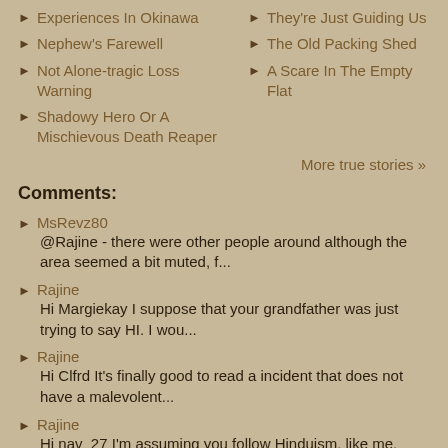Experiences In Okinawa
Nephew's Farewell
Not Alone-tragic Loss Warning
Shadowy Hero Or A Mischievous Death Reaper
They're Just Guiding Us
The Old Packing Shed
A Scare In The Empty Flat
More true stories »
Comments:
MsRevz80
@Rajine - there were other people around although the area seemed a bit muted, f...
Rajine
Hi Margiekay I suppose that your grandfather was just trying to say HI. I wou...
Rajine
Hi Clfrd It's finally good to read a incident that does not have a malevolent...
Rajine
Hi nav_27 I'm assuming you follow Hinduism, like me, here in